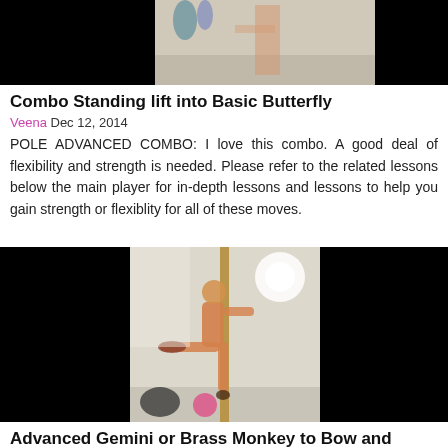[Figure (photo): Thumbnail image for pole dancing video - Combo Standing lift into Basic Butterfly, partially black with a person visible in center-right]
Combo Standing lift into Basic Butterfly
Veena Dec 12, 2014
POLE ADVANCED COMBO: I love this combo. A good deal of flexibility and strength is needed. Please refer to the related lessons below the main player for in-depth lessons and lessons to help you gain strength or flexiblity for all of these moves.
[Figure (photo): Thumbnail image for pole dancing video - Advanced Gemini or Brass Monkey to Bow and Arrow, person on pole centered, black sides]
Advanced Gemini or Brass Monkey to Bow and Arrow
Veena Jan 6, 2022
I strongly suggest working on Bow and Arrow from Cross Knee or Cross Ankle if this is your first time. If you don't feel